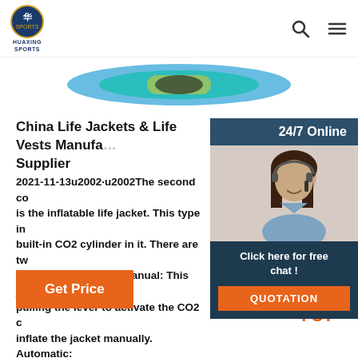HUAXING SPORTS
[Figure (photo): Partial view of sports goggles or mask in blue/teal/yellow colors at top of page]
[Figure (photo): 24/7 Online chat widget with female customer service agent wearing headset, blue/dark background, with 'Click here for free chat!' text and orange QUOTATION button]
China Life Jackets & Life Vests Manufacturer, Supplier
2021-11-13u2002·u2002The second co is the inflatable life jacket. This type in built-in CO2 cylinder in it. There are tw of inflatable jackets: Manual: This jacke pulling the lever to activate the CO2 c inflate the jacket manually. Automatic: jacket, the CO2 gas cartridge engages as soon as they ...
Get Price
[Figure (illustration): Orange 'TOP' button with dotted upward arrow icon for scroll-to-top navigation]